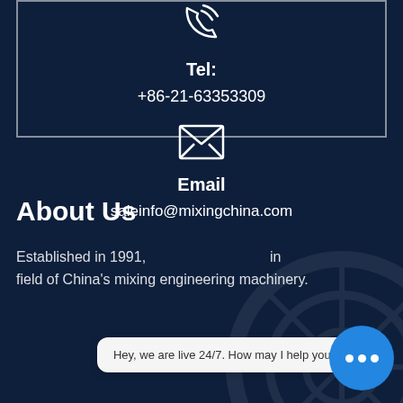[Figure (illustration): Phone/call icon (white outline on dark background)]
Tel:
+86-21-63353309
[Figure (illustration): Email/envelope icon (white outline on dark background)]
Email
saleinfo@mixingchina.com
About Us
Established in 1991, ...in field of China's mixing engineering machinery.
Hey, we are live 24/7. How may I help you?